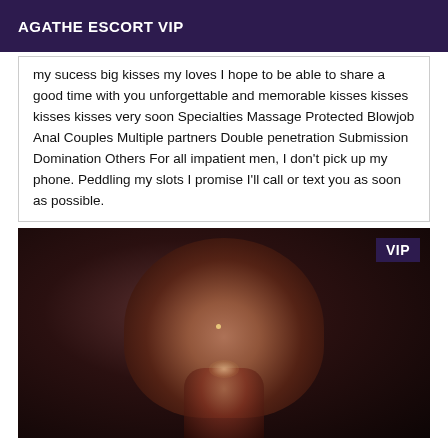AGATHE ESCORT VIP
my sucess big kisses my loves I hope to be able to share a good time with you unforgettable and memorable kisses kisses kisses kisses very soon Specialties Massage Protected Blowjob Anal Couples Multiple partners Double penetration Submission Domination Others For all impatient men, I don't pick up my phone. Peddling my slots I promise I'll call or text you as soon as possible.
[Figure (photo): Close-up photo of a person's lower face/chin area in dim lighting with a VIP badge overlay in the top right corner]